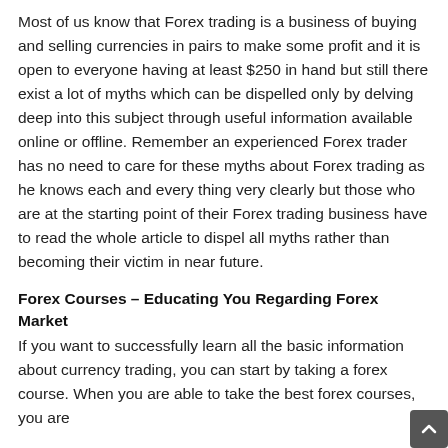Most of us know that Forex trading is a business of buying and selling currencies in pairs to make some profit and it is open to everyone having at least $250 in hand but still there exist a lot of myths which can be dispelled only by delving deep into this subject through useful information available online or offline. Remember an experienced Forex trader has no need to care for these myths about Forex trading as he knows each and every thing very clearly but those who are at the starting point of their Forex trading business have to read the whole article to dispel all myths rather than becoming their victim in near future.
Forex Courses – Educating You Regarding Forex Market
If you want to successfully learn all the basic information about currency trading, you can start by taking a forex course. When you are able to take the best forex courses, you are